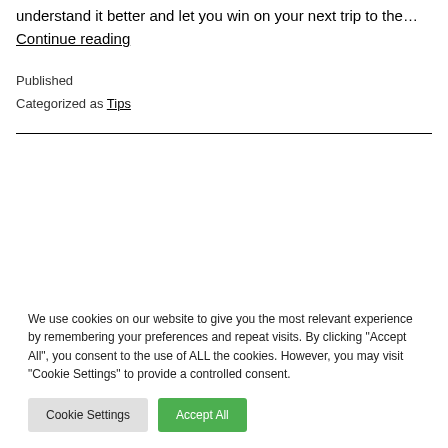understand it better and let you win on your next trip to the… Continue reading
Published
Categorized as Tips
We use cookies on our website to give you the most relevant experience by remembering your preferences and repeat visits. By clicking "Accept All", you consent to the use of ALL the cookies. However, you may visit "Cookie Settings" to provide a controlled consent.